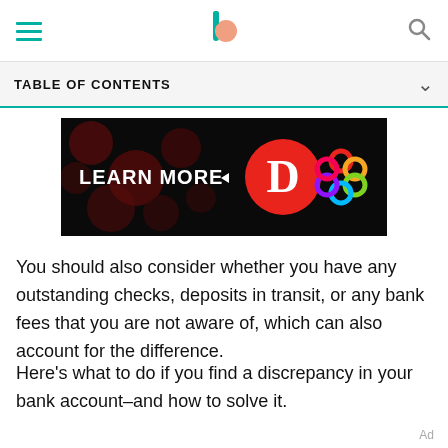TABLE OF CONTENTS
[Figure (screenshot): Dark advertisement banner with 'LEARN MORE' text on left, and logos including a red circle with white D letter and a colorful interlocking circles logo on the right]
You should also consider whether you have any outstanding checks, deposits in transit, or any bank fees that you are not aware of, which can also account for the difference.
Here's what to do if you find a discrepancy in your bank account–and how to solve it.